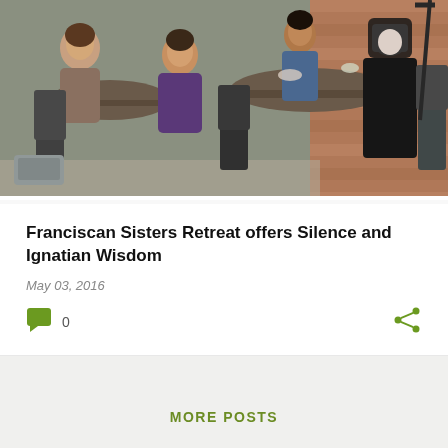[Figure (photo): Group of people including women and a nun in black habit sitting around round tables in a cafeteria or meeting room with brick walls in the background]
Franciscan Sisters Retreat offers Silence and Ignatian Wisdom
May 03, 2016
0
MORE POSTS
Powered by Blogger